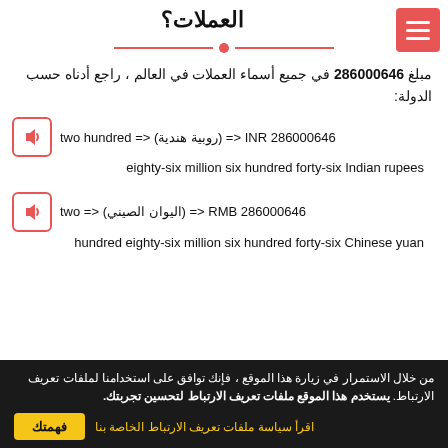العملات؟
مبلغ 286000646 في جميع أسماء العملات في العالم ، راجع أدناه حسب الدولة:
286000646 INR <= (روبية هندية) <= two hundred eighty-six million six hundred forty-six Indian rupees
286000646 RMB <= (اليوان الصيني) <= two hundred eighty-six million six hundred forty-six Chinese yuan
من خلال الاستمرار في زيارة هذا الموقع ، فإنك توافق على استخدامنا لملفات تعريف الارتباط. يستخدم هذا الموقع ملفات تعريف الارتباط لتحسين تجربتك.
اقرأ سياسة ملفات تعريف الارتباط الخاصة بنا
فهمتك